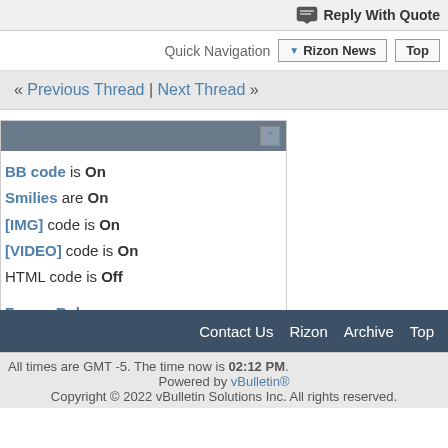Reply With Quote
Quick Navigation  ▼ Rizon News  Top
« Previous Thread | Next Thread »
BB code is On
Smilies are On
[IMG] code is On
[VIDEO] code is On
HTML code is Off
Forum Rules
Contact Us  Rizon  Archive  Top
All times are GMT -5. The time now is 02:12 PM.
Powered by vBulletin®
Copyright © 2022 vBulletin Solutions Inc. All rights reserved.